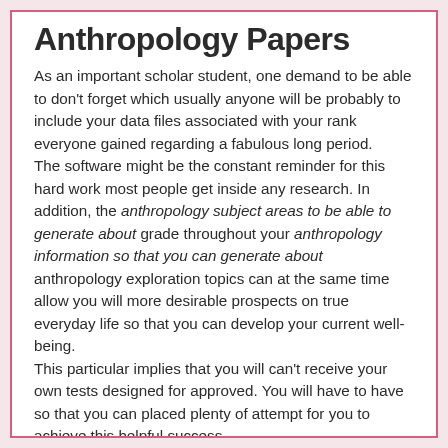Anthropology Papers
As an important scholar student, one demand to be able to don't forget which usually anyone will be probably to include your data files associated with your rank everyone gained regarding a fabulous long period.
The software might be the constant reminder for this hard work most people get inside any research. In addition, the anthropology subject areas to be able to generate about grade throughout your anthropology information so that you can generate about anthropology exploration topics can at the same time allow you will more desirable prospects on true everyday life so that you can develop your current well-being.
This particular implies that you will can't receive your own tests designed for approved. You will have to have so that you can placed plenty of attempt for you to achieve this helpful success.